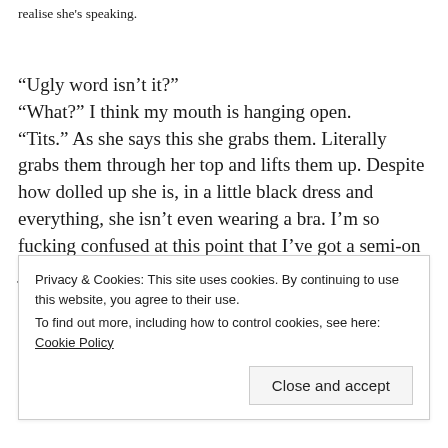realise she's speaking.
“Ugly word isn’t it?”
“What?” I think my mouth is hanging open.
“Tits.” As she says this she grabs them. Literally grabs them through her top and lifts them up. Despite how dolled up she is, in a little black dress and everything, she isn’t even wearing a bra. I’m so fucking confused at this point that I’ve got a semi-on just looking at her, even though I’ve literally just… well I told you didn’t I? No need to bang on about it.
Privacy & Cookies: This site uses cookies. By continuing to use this website, you agree to their use.
To find out more, including how to control cookies, see here: Cookie Policy
Close and accept